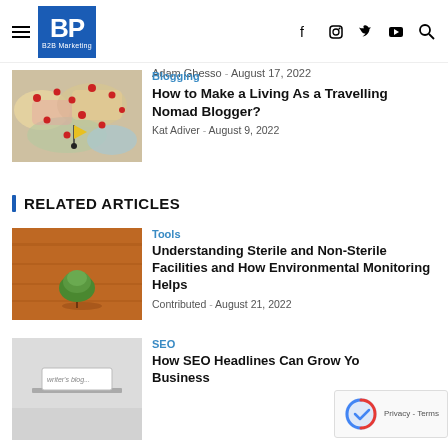BP B2B Marketing — navigation header with hamburger menu, logo, and social icons (f, instagram, twitter, youtube, search)
Adam Ghesso  –  August 17, 2022
[Figure (photo): Map with red pin markers scattered across it, with a yellow/black flag marker in the center]
Blogging
How to Make a Living As a Travelling Nomad Blogger?
Kat Adiver  –  August 9, 2022
RELATED ARTICLES
[Figure (photo): Aerial photo of a lone green tree in a dry brown field]
Tools
Understanding Sterile and Non-Sterile Facilities and How Environmental Monitoring Helps
Contributed  –  August 21, 2022
[Figure (photo): Black and white photo of a laptop or desk with text 'writer's blog...']
SEO
How SEO Headlines Can Grow Your Business